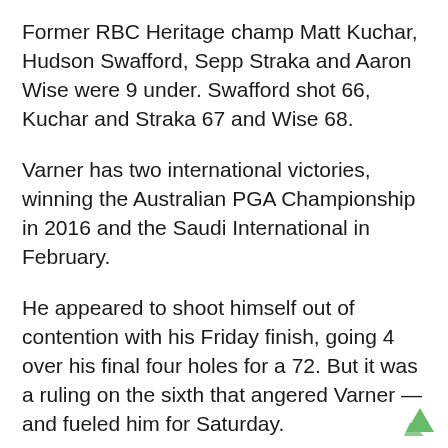Former RBC Heritage champ Matt Kuchar, Hudson Swafford, Sepp Straka and Aaron Wise were 9 under. Swafford shot 66, Kuchar and Straka 67 and Wise 68.
Varner has two international victories, winning the Australian PGA Championship in 2016 and the Saudi International in February.
He appeared to shoot himself out of contention with his Friday finish, going 4 over his final four holes for a 72. But it was a ruling on the sixth that angered Varner — and fueled him for Saturday.
Varner's tee shot on the par-4 sixth was called out-of-bounds. Varner told officials that he